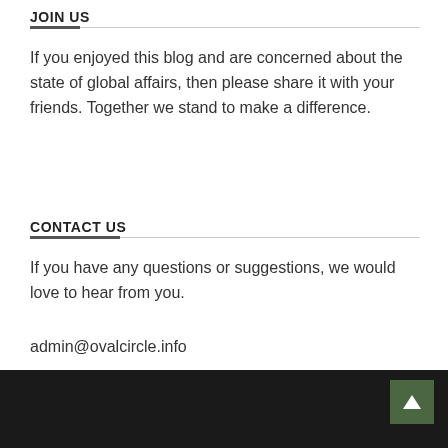JOIN US
If you enjoyed this blog and are concerned about the state of global affairs, then please share it with your friends. Together we stand to make a difference.
CONTACT US
If you have any questions or suggestions, we would love to hear from you.
admin@ovalcircle.info
QUOTE: